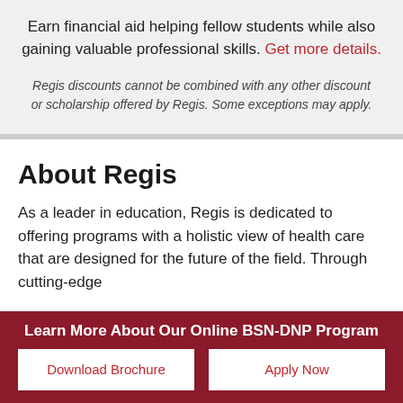Earn financial aid helping fellow students while also gaining valuable professional skills. Get more details.
Regis discounts cannot be combined with any other discount or scholarship offered by Regis. Some exceptions may apply.
About Regis
As a leader in education, Regis is dedicated to offering programs with a holistic view of health care that are designed for the future of the field. Through cutting-edge...
Learn More About Our Online BSN-DNP Program
Download Brochure
Apply Now